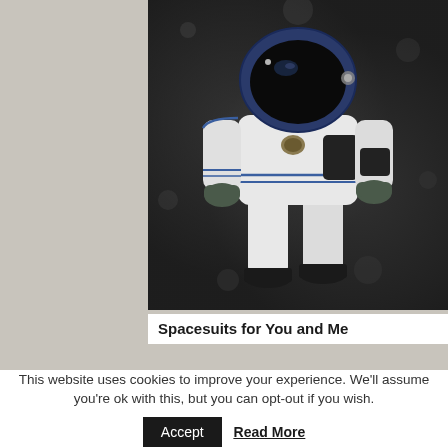[Figure (photo): A person in a white spacesuit with a dark blue helmet visor, black gloves, and black boots, standing against a dark grey mottled background. The suit has blue accent lines and patches on the chest and arm.]
Spacesuits for You and Me
This website uses cookies to improve your experience. We'll assume you're ok with this, but you can opt-out if you wish.
Accept   Read More